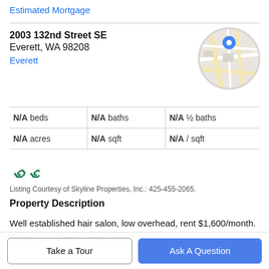Estimated Mortgage
2003 132nd Street SE
Everett, WA 98208
Everett
[Figure (map): Circular map thumbnail showing a location pin marker on a street map of Everett, WA]
| N/A beds | N/A baths | N/A ½ baths |
| N/A acres | N/A sqft | N/A / sqft |
[Figure (logo): MLS logo in green italic stylized text]
Listing Courtesy of Skyline Properties, Inc.: 425-455-2065.
Property Description
Well established hair salon, low overhead, rent $1,600/month. Owner runs the business with a part time